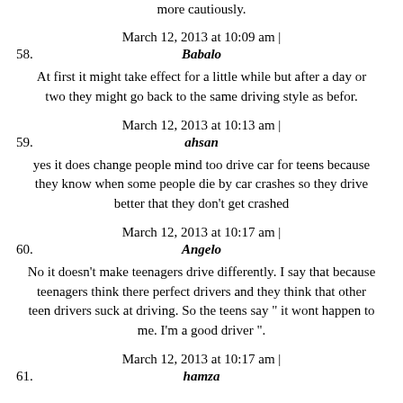more cautiously.
March 12, 2013 at 10:09 am |
58. Babalo
At first it might take effect for a little while but after a day or two they might go back to the same driving style as befor.
March 12, 2013 at 10:13 am |
59. ahsan
yes it does change people mind too drive car for teens because they know when some people die by car crashes so they drive better that they don't get crashed
March 12, 2013 at 10:17 am |
60. Angelo
No it doesn't make teenagers drive differently. I say that because teenagers think there perfect drivers and they think that other teen drivers suck at driving. So the teens say " it wont happen to me. I'm a good driver ".
March 12, 2013 at 10:17 am |
61. hamza